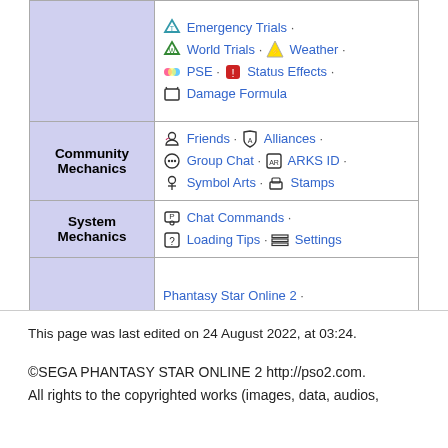| Category | Links |
| --- | --- |
|  | Emergency Trials · World Trials · Weather · PSE · Status Effects · Damage Formula |
| Community Mechanics | Friends · Alliances · Group Chat · ARKS ID · Symbol Arts · Stamps |
| System Mechanics | Chat Commands · Loading Tips · Settings |
| Portals | Phantasy Star Online 2 · Phantasy Star Online 2: New Genesis · Idola: Phantasy Star Saga |
This page was last edited on 24 August 2022, at 03:24.
©SEGA PHANTASY STAR ONLINE 2 http://pso2.com. All rights to the copyrighted works (images, data, audios,